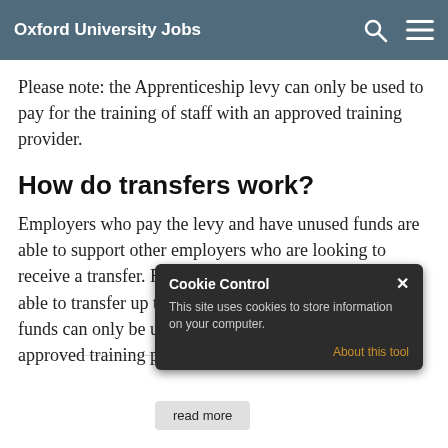Oxford University Jobs
Please note: the Apprenticeship levy can only be used to pay for the training of staff with an approved training provider.
How do transfers work?
Employers who pay the levy and have unused funds are able to support other employers who are looking to receive a transfer. From April 2019, these employers are able to transfer up to 25% of their annual funds. These funds can only be used for training by a Government approved training provider.
[Figure (screenshot): Cookie Control popup dialog with dark background, title 'Cookie Control', close X button, text 'This site uses cookies to store information on your computer.', 'About this tool' link in amber/gold color]
read more